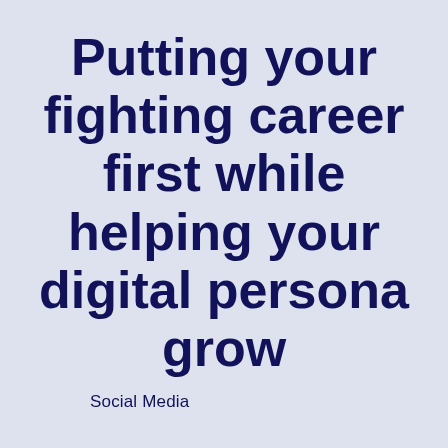Putting your fighting career first while helping your digital persona grow
Social Media